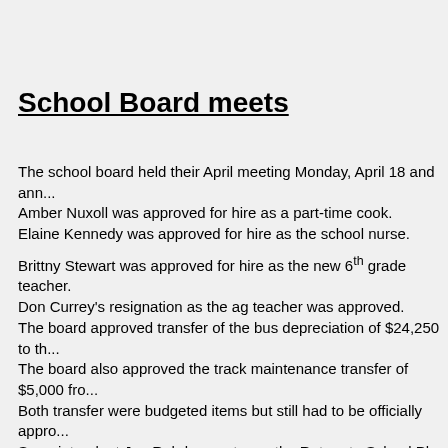School Board meets
The school board held their April meeting Monday, April 18 and ann... Amber Nuxoll was approved for hire as a part-time cook. Elaine Kennedy was approved for hire as the school nurse. Brittny Stewart was approved for hire as the new 6th grade teacher. Don Currey’s resignation as the ag teacher was approved. The board approved transfer of the bus depreciation of $24,250 to th... The board also approved the track maintenance transfer of $5,000 fro... Both transfer were budgeted items but still had to be officially appro... Superintendent Jon Rehder went over the Return to School Plan upda... In the administrative reports there was lengthy discussion on the atte... going over the state 90% attendance rule which allows for 9 absence... They have a Saturday school scheduled for May 28 to help students... attendance is always an issue but has become more of a problem sino... the next school year and asked for their input. In the rest of his report he noted they had 34 successful donors at the... Parent/teacher conferences had 41 parents attending. New this year was a Spring Fling where the student council put on a... The Knowledge Bowl team finished their year with a second place fi...